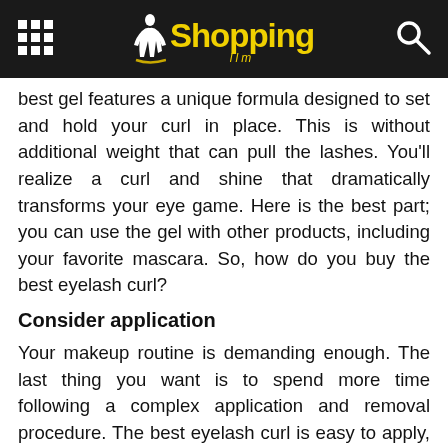Shopping llm
best gel features a unique formula designed to set and hold your curl in place. This is without additional weight that can pull the lashes. You'll realize a curl and shine that dramatically transforms your eye game. Here is the best part; you can use the gel with other products, including your favorite mascara. So, how do you buy the best eyelash curl?
Consider application
Your makeup routine is demanding enough. The last thing you want is to spend more time following a complex application and removal procedure. The best eyelash curl is easy to apply, with or without other products. The removal process should be seamless, making your quest to supercharge the eyelash game more productive.